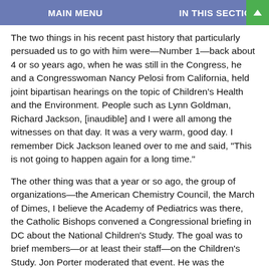MAIN MENU   IN THIS SECTION
The two things in his recent past history that particularly persuaded us to go with him were—Number 1—back about 4 or so years ago, when he was still in the Congress, he and a Congresswoman Nancy Pelosi from California, held joint bipartisan hearings on the topic of Children's Health and the Environment. People such as Lynn Goldman, Richard Jackson, [inaudible] and I were all among the witnesses on that day. It was a very warm, good day. I remember Dick Jackson leaned over to me and said, "This is not going to happen again for a long time."
The other thing was that a year or so ago, the group of organizations—the American Chemistry Council, the March of Dimes, I believe the Academy of Pediatrics was there, the Catholic Bishops convened a Congressional briefing in DC about the National Children's Study. The goal was to brief members—or at least their staff—on the Children's Study. Jon Porter moderated that event. He was the maitre'd. I had a nice chat with him that day. I was one of the speakers. So I knew that he was quite knowledgeable about the study—